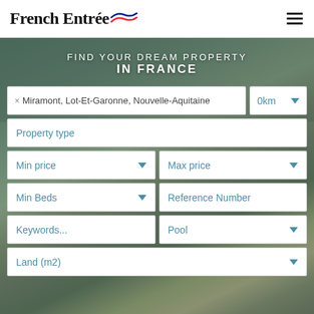French Entrée
FIND YOUR DREAM PROPERTY IN FRANCE
× Miramont, Lot-Et-Garonne, Nouvelle-Aquitaine
0km
Property type
Min price
Max price
Min Beds
Reference Number
Keywords...
Pool
Land (m2)